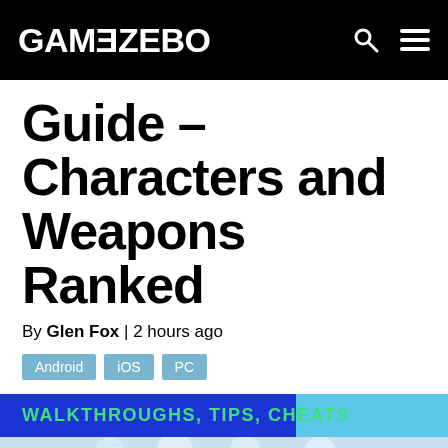GAMEZEBO
Guide – Characters and Weapons Ranked
By Glen Fox | 2 hours ago
Android
iOS
PC
[Figure (other): Gamezebo banner with text WALKTHROUGHS, TIPS, CHEATS and anime character illustration below]
WALKTHROUGHS, TIPS, CHEATS